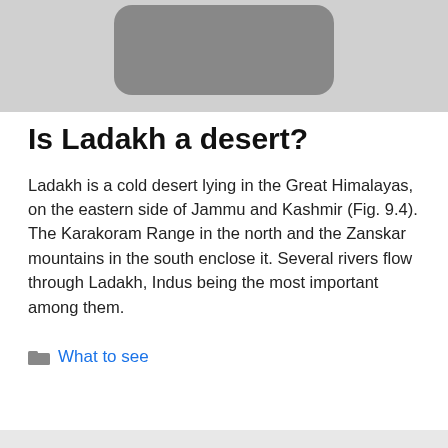[Figure (photo): Partial image of a rounded square icon or photo on a light grey background, cropped at the top of the page]
Is Ladakh a desert?
Ladakh is a cold desert lying in the Great Himalayas, on the eastern side of Jammu and Kashmir (Fig. 9.4). The Karakoram Range in the north and the Zanskar mountains in the south enclose it. Several rivers flow through Ladakh, Indus being the most important among them.
What to see